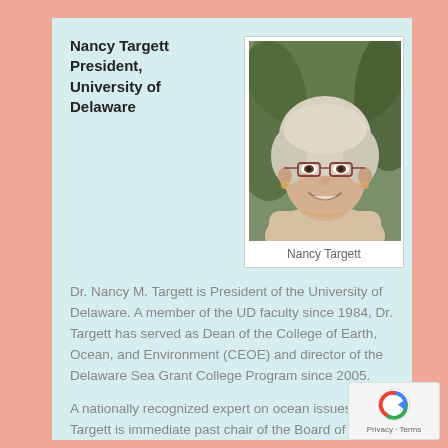Nancy Targett President, University of Delaware
[Figure (photo): Portrait photo of Nancy Targett, a woman with short blonde/white hair and glasses, smiling, wearing a light-colored outfit, photographed outdoors with greenery in the background.]
Nancy Targett
Dr. Nancy M. Targett is President of the University of Delaware. A member of the UD faculty since 1984, Dr. Targett has served as Dean of the College of Earth, Ocean, and Environment (CEOE) and director of the Delaware Sea Grant College Program since 2005.
A nationally recognized expert on ocean issues, Dr. Targett is immediate past chair of the Board of Trustees of the Consortium for